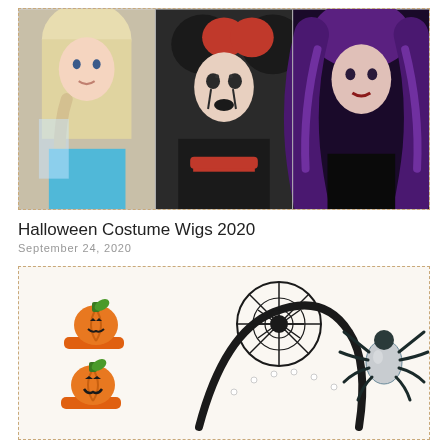[Figure (photo): Three women wearing Halloween costume wigs: left - blonde braided Elsa-style wig with blue sparkle dress, center - black and red clown afro puffs wig with clown makeup and dark costume, right - long curly purple and black witch wig with black top]
Halloween Costume Wigs 2020
September 24, 2020
[Figure (photo): Halloween accessories: two orange glitter pumpkin jack-o-lantern hair clips on left, a black spider web headband in the center, and a black spider brooch/pin on the right, all on a light cream background with dashed orange border]